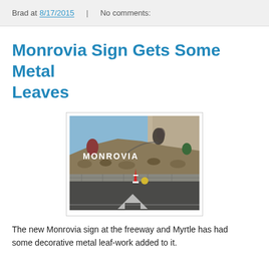Brad at 8/17/2015   No comments:
Monrovia Sign Gets Some Metal Leaves
[Figure (photo): Outdoor photo of the Monrovia city sign on a hillside at the freeway and Myrtle. The white block letters spell MONROVIA on a rocky hillside with a large wall behind it, a metal leaf sculpture above, a red traffic cone, and a white arrow painted on the road.]
The new Monrovia sign at the freeway and Myrtle has had some decorative metal leaf-work added to it.